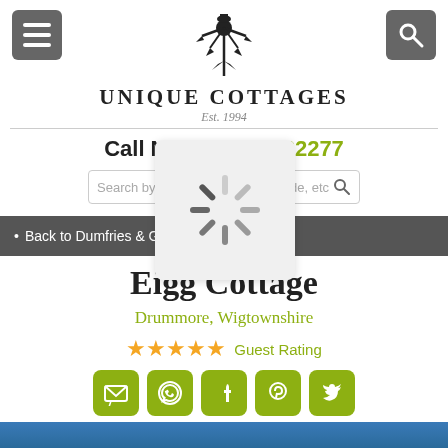[Figure (logo): Unique Cottages logo with thistle emblem, name 'UNIQUE COTTAGES' and 'Est. 1994']
Call Now 01835 822277
Search by name, postcode, etc
Back to Dumfries & Ga...
Eigg Cottage
Drummore, Wigtownshire
★★★★★ Guest Rating
[Figure (other): Social media icon buttons: email, WhatsApp, Facebook, Pinterest, Twitter — all in olive green rounded squares]
[Figure (photo): Bottom strip showing partial coastal/sea photo in blue tones]